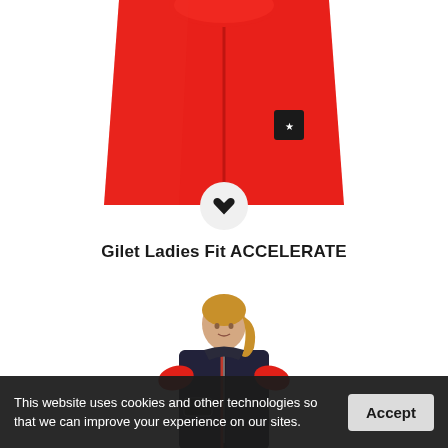[Figure (photo): Close-up of a red sleeveless gilet/vest top portion showing the red fabric and a small brand badge, cropped at top of product listing]
[Figure (illustration): Heart/favorite icon button in a circular light gray background]
Gilet Ladies Fit ACCELERATE
[Figure (photo): A woman with blonde hair wearing a black padded gilet vest over a red short-sleeve shirt, standing against white background]
This website uses cookies and other technologies so that we can improve your experience on our sites.
Accept